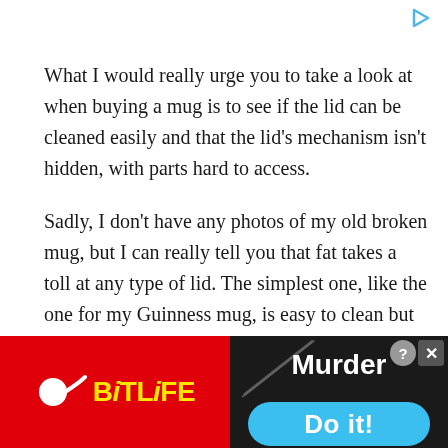[Figure (other): Small triangular ad icon (play/ad indicator) in top right corner]
What I would really urge you to take a look at when buying a mug is to see if the lid can be cleaned easily and that the lid’s mechanism isn’t hidden, with parts hard to access.
Sadly, I don’t have any photos of my old broken mug, but I can really tell you that fat takes a toll at any type of lid. The simplest one, like the one for my Guinness mug, is easy to clean but crappy and the more complex ones can sometimes be… too complex.
After some research, I have to say I haven’t found comprehensive reviews and article on people drinking
[Figure (screenshot): Advertisement banner at the bottom. Left half: red background with BitLife logo (sperm icon in white + yellow bold text 'BiTLiFE'). Right half: dark background with text 'Murder' and a knife diagonal slash graphic, plus a blue rounded button saying 'Do it!' with a close X button in top right corner.]